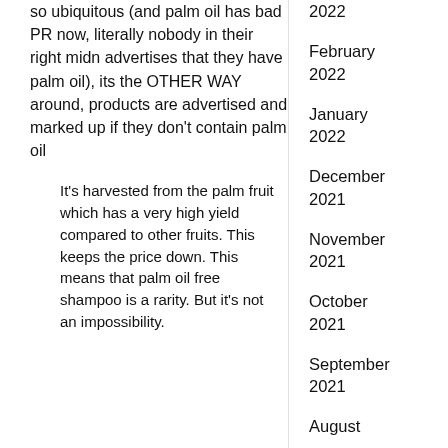so ubiquitous (and palm oil has bad PR now, literally nobody in their right midn advertises that they have palm oil), its the OTHER WAY around, products are advertised and marked up if they don't contain palm oil
It's harvested from the palm fruit which has a very high yield compared to other fruits. This keeps the price down. This means that palm oil free shampoo is a rarity. But it's not an impossibility.
2022
February 2022
January 2022
December 2021
November 2021
October 2021
September 2021
August